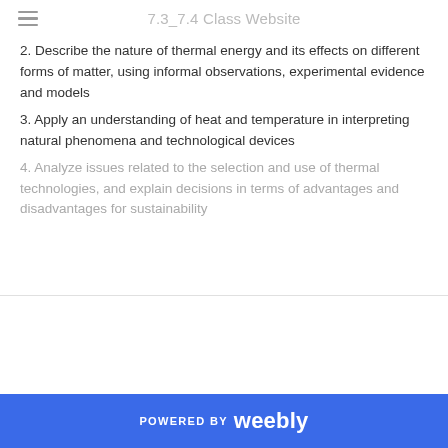7.3_7.4 Class Website
2. Describe the nature of thermal energy and its effects on different forms of matter, using informal observations, experimental evidence and models
3. Apply an understanding of heat and temperature in interpreting natural phenomena and technological devices
4. Analyze issues related to the selection and use of thermal technologies, and explain decisions in terms of advantages and disadvantages for sustainability
POWERED BY weebly